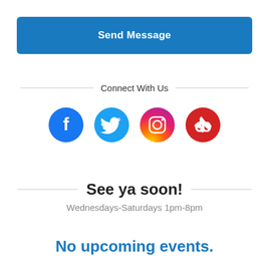Send Message
Connect With Us
[Figure (infographic): Four circular social media icons: Facebook (dark blue), Twitter (light blue), Instagram (pink/red gradient), Yelp (red)]
See ya soon!
Wednesdays-Saturdays 1pm-8pm
No upcoming events.